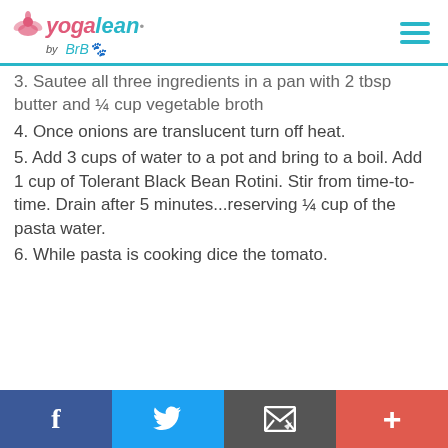yogalean by BrB
3. Sautee all three ingredients in a pan with 2 tbsp butter and ¼ cup vegetable broth
4. Once onions are translucent turn off heat.
5. Add 3 cups of water to a pot and bring to a boil. Add 1 cup of Tolerant Black Bean Rotini. Stir from time-to-time. Drain after 5 minutes...reserving ¼ cup of the pasta water.
6. While pasta is cooking dice the tomato.
Facebook | Twitter | Email | Plus